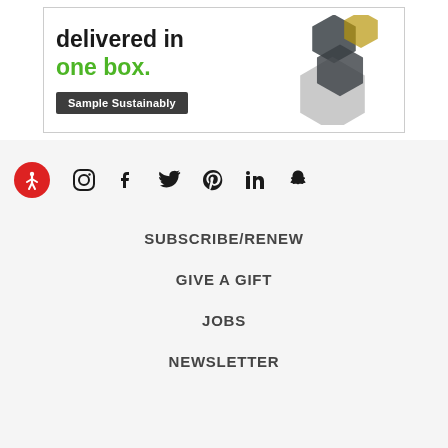[Figure (illustration): Advertisement banner showing text 'delivered in one box.' with green 'one box.' text, a 'Sample Sustainably' dark button, and hexagonal tile product images on the right.]
[Figure (infographic): Footer section with accessibility icon (red circle with person), and social media icons: Instagram, Facebook, Twitter, Pinterest, LinkedIn, Snapchat.]
SUBSCRIBE/RENEW
GIVE A GIFT
JOBS
NEWSLETTER